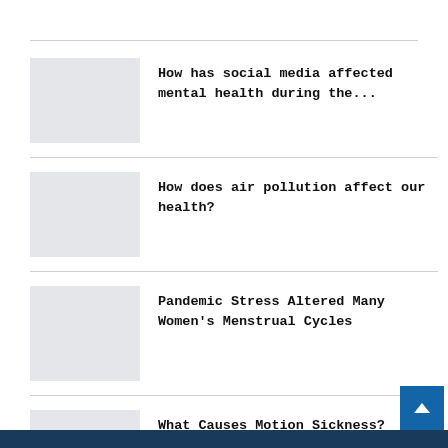How has social media affected mental health during the...
How does air pollution affect our health?
Pandemic Stress Altered Many Women's Menstrual Cycles
What Causes Motion Sickness?